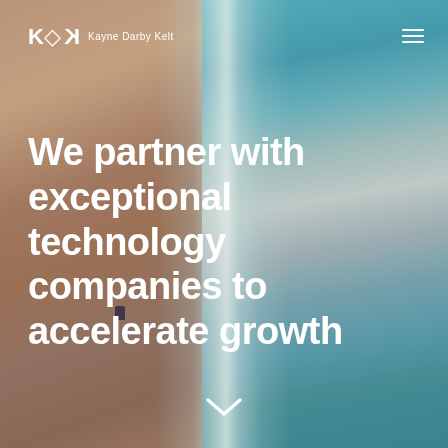[Figure (photo): Aerial photograph of a beach shoreline showing sandy shore on the left and turquoise ocean waves on the right, with a small figure visible near the bottom of the sand.]
KDK  Kayne Darby Kelt
We partner with exceptional technology companies to accelerate growth